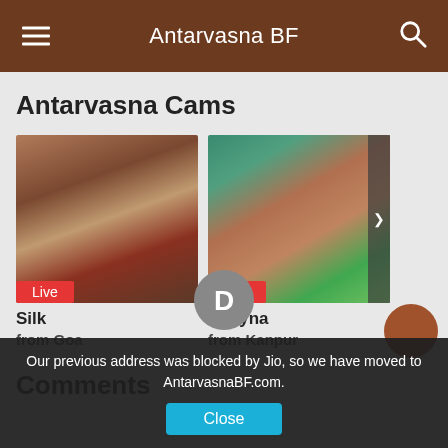Antarvasna BF
Antarvasna Cams
[Figure (photo): Live cam thumbnail of Silk from Goa wearing saree with Live badge]
Silk
from Goa
[Figure (photo): Live cam thumbnail of Shayna from Kanpur with Live badge]
Shayna
from Kanpur
Comments
Our previous address was blocked by Jio, so we have moved to AntarvasnaBF.com.